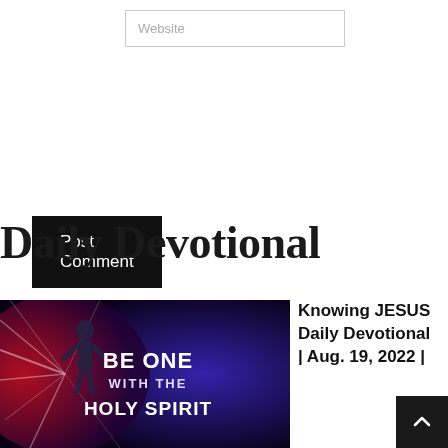[Figure (screenshot): Website input field with placeholder text 'Website']
Post Comment
Daily Devotional
[Figure (photo): Devotional image with dark blue/red background showing a person with light rays and text 'BE ONE WITH THE HOLY SPIRIT']
Knowing JESUS Daily Devotional | Aug. 19, 2022 |